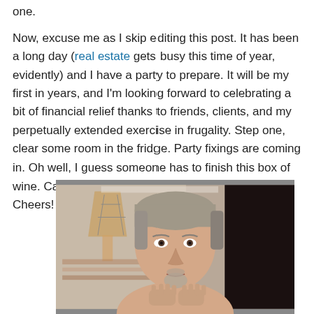one.
Now, excuse me as I skip editing this post. It has been a long day (real estate gets busy this time of year, evidently) and I have a party to prepare. It will be my first in years, and I'm looking forward to celebrating a bit of financial relief thanks to friends, clients, and my perpetually extended exercise in frugality. Step one, clear some room in the fridge. Party fixings are coming in. Oh well, I guess someone has to finish this box of wine. Can't have my friends drinking the dregs. Cheers!
[Figure (photo): A middle-aged man with gray hair and a goatee, photographed from the chest up, with hands raised near his chin. Background shows a room with what appears to be a lantern or lamp shade on the left side.]